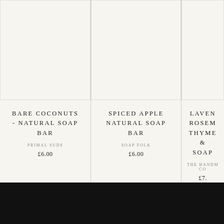[Figure (photo): Product card for Bare Coconuts Natural Soap Bar by Primal Suds, white soap bar image, price £6.00]
[Figure (photo): Product card for Spiced Apple Natural Soap Bar by Soap Folk, white soap bar image, price £6.00]
[Figure (photo): Product card for Lavender Rosemary Thyme Soap (partially visible) by The Handm... Co..., price £7...]